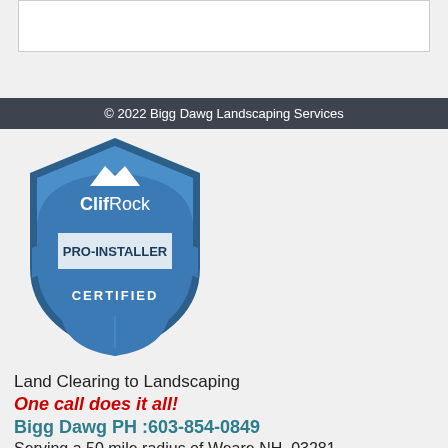[Figure (other): Empty white box at top of page]
© 2022 Bigg Dawg Landscaping Services
[Figure (logo): ClifRock PRO-INSTALLER CERTIFIED blue shield badge logo]
Land Clearing to Landscaping
One call does it all!
Bigg Dawg PH :603-854-0849
Serving a 50 mile radius of Weare NH. 03281
Office hours: Monday - Friday 8-4
Website design and hosting by Business Services Consultants